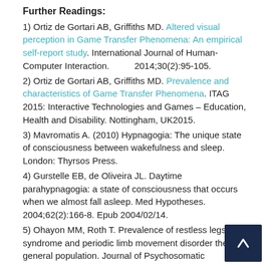Further Readings:
1) Ortiz de Gortari AB, Griffiths MD. Altered visual perception in Game Transfer Phenomena: An empirical self-report study. International Journal of Human-Computer Interaction. 2014;30(2):95-105.
2) Ortiz de Gortari AB, Griffiths MD. Prevalence and characteristics of Game Transfer Phenomena. ITAG 2015: Interactive Technologies and Games – Education, Health and Disability. Nottingham, UK2015.
3) Mavromatis A. (2010) Hypnagogia: The unique state of consciousness between wakefulness and sleep. London: Thyrsos Press.
4) Gurstelle EB, de Oliveira JL. Daytime parahypnagogia: a state of consciousness that occurs when we almost fall asleep. Med Hypotheses. 2004;62(2):166-8. Epub 2004/02/14.
5) Ohayon MM, Roth T. Prevalence of restless legs syndrome and periodic limb movement disorder the general population. Journal of Psychosomatic